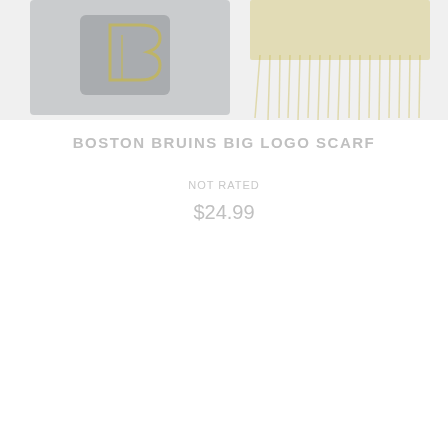[Figure (photo): Partial view of a Boston Bruins Big Logo Scarf — grey and yellow/gold knit scarf with Bruins logo and fringe tassels visible, faded/light appearance]
BOSTON BRUINS BIG LOGO SCARF
NOT RATED
$24.99